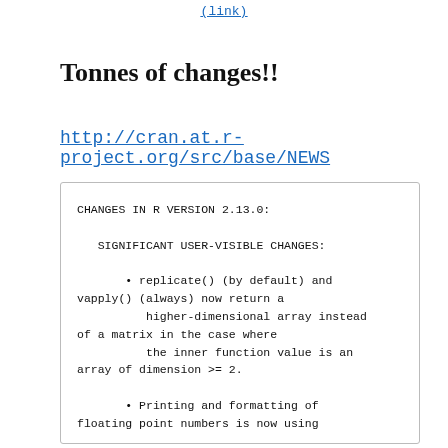(link)
Tonnes of changes!!
http://cran.at.r-project.org/src/base/NEWS
CHANGES IN R VERSION 2.13.0:

  SIGNIFICANT USER-VISIBLE CHANGES:

    • replicate() (by default) and vapply() (always) now return a
        higher-dimensional array instead of a matrix in the case where
        the inner function value is an array of dimension >= 2.

    • Printing and formatting of floating point numbers is now using